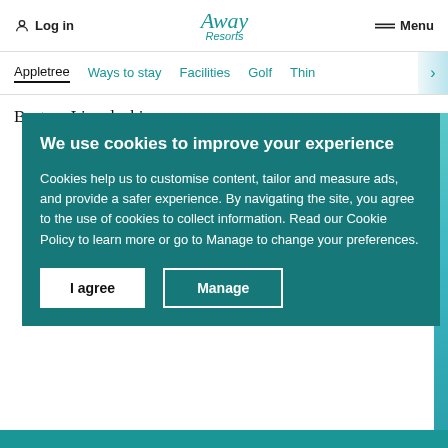Log in | Away Resorts | Menu
Appletree | Ways to stay | Facilities | Golf | Thin >
Boston, Lincolnshire
We use cookies to improve your experience
Cookies help us to customise content, tailor and measure ads, and provide a safer experience. By navigating the site, you agree to the use of cookies to collect information. Read our Cookie Policy to learn more or go to Manage to change your preferences.
I agree | Manage